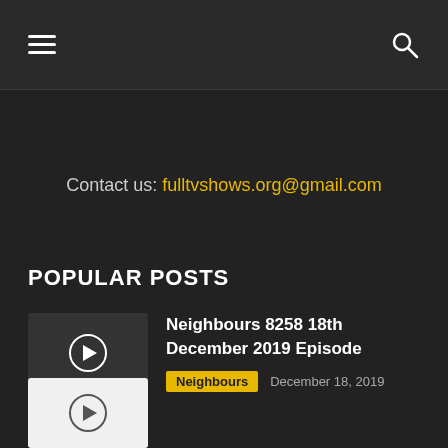Navigation header with hamburger menu and search icon
Contact us: fulltvshows.org@gmail.com
POPULAR POSTS
Neighbours 8258 18th December 2019 Episode
Neighbours   December 18, 2019